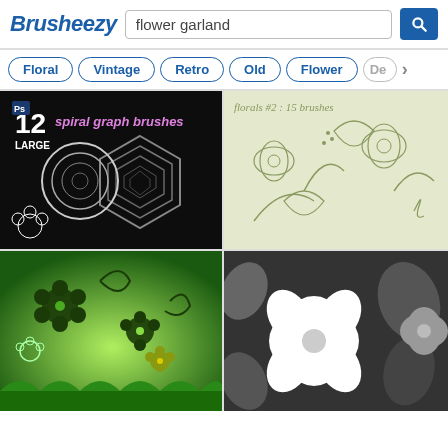Brusheezy — flower garland search results
Floral
Vintage
Retro
Old
Flower
[Figure (screenshot): 12 Large Spiral Graph Brushes – dark background with white geometric spiral and flower brush previews]
[Figure (screenshot): florals #2 : 15 brushes – hand-drawn floral sketches on cream/green background]
[Figure (screenshot): Green floral brush set – vibrant green background with decorative flower and swirl brush designs]
[Figure (screenshot): Grayscale flower brushes – black, white and gray flower petal brush previews]